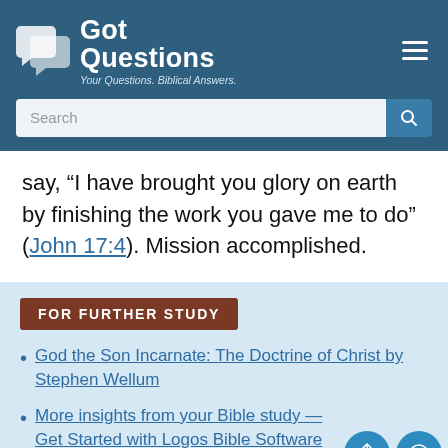[Figure (logo): GotQuestions logo with speech bubble icon, text 'Got Questions' and tagline 'Your Questions. Biblical Answers.']
say, “I have brought you glory on earth by finishing the work you gave me to do” (John 17:4). Mission accomplished.
FOR FURTHER STUDY
God the Son Incarnate: The Doctrine of Christ by Stephen Wellum
More insights from your Bible study — Get Started with Logos Bible Software for